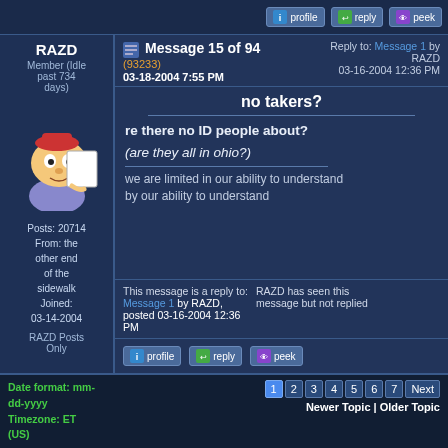profile | reply | peek
RAZD
Member (Idle past 734 days)
Posts: 20714
From: the other end of the sidewalk
Joined: 03-14-2004
RAZD Posts Only
[Figure (illustration): Cartoon avatar of a character with a red hat, large eyes, peeking over a paper/book]
Message 15 of 94
(93233)
03-18-2004 7:55 PM
Reply to: Message 1 by RAZD
03-16-2004 12:36 PM
no takers?
re there no ID people about?
(are they all in ohio?)
we are limited in our ability to understand by our ability to understand
This message is a reply to:
Message 1 by RAZD, posted 03-16-2004 12:36 PM
RAZD has seen this message but not replied
profile | reply | peek
Date format: mm-dd-yyyy
Timezone: ET (US)
1 2 3 4 5 6 7 Next
Newer Topic | Older Topic